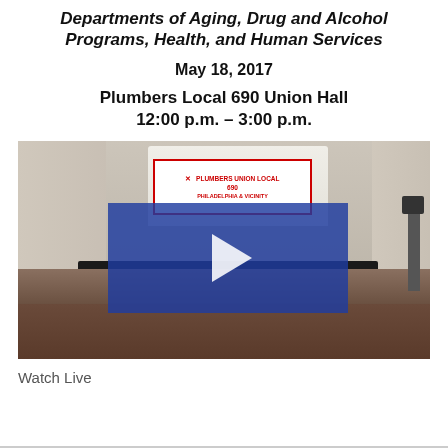Departments of Aging, Drug and Alcohol Programs, Health, and Human Services
May 18, 2017
Plumbers Local 690 Union Hall
12:00 p.m. – 3:00 p.m.
[Figure (photo): A meeting room at Plumbers Union Local 690 Philadelphia & Vicinity, showing a panel table at the front of the room with people seated, audience members seated in chairs in the foreground, a blue video overlay with a play button triangle, and a banner reading 'Plumbers Union Local 690 Philadelphia & Vicinity' on the wall behind white curtain draping.]
Watch Live